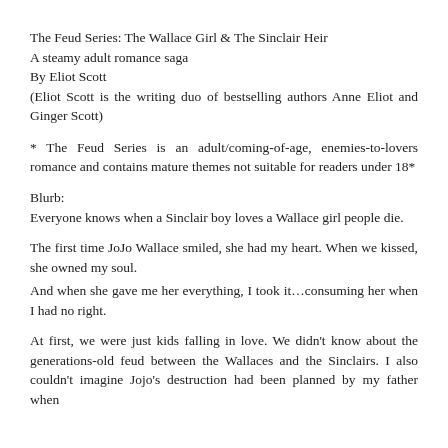The Feud Series: The Wallace Girl & The Sinclair Heir
A steamy adult romance saga
By Eliot Scott
(Eliot Scott is the writing duo of bestselling authors Anne Eliot and Ginger Scott)
* The Feud Series is an adult/coming-of-age, enemies-to-lovers romance and contains mature themes not suitable for readers under 18*
Blurb:
Everyone knows when a Sinclair boy loves a Wallace girl people die.
The first time JoJo Wallace smiled, she had my heart. When we kissed, she owned my soul.
And when she gave me her everything, I took it…consuming her when I had no right.
At first, we were just kids falling in love. We didn't know about the generations-old feud between the Wallaces and the Sinclairs. I also couldn't imagine Jojo's destruction had been planned by my father when